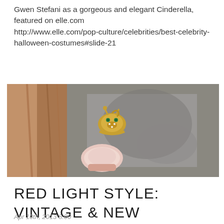Gwen Stefani as a gorgeous and elegant Cinderella, featured on elle.com http://www.elle.com/pop-culture/celebrities/best-celebrity-halloween-costumes#slide-21
[Figure (photo): Close-up photo of jewelry rings being held between wooden objects, showing a gold animal-shaped ring with green eyes and a pink stone ring, against a gray stone background.]
RED LIGHT STYLE: VINTAGE & NEW JEWELRY
Apr 10th, 2013 8:00
[Figure (photo): Partial photo showing rusty metal objects, likely vintage hardware or jewelry-related items.]